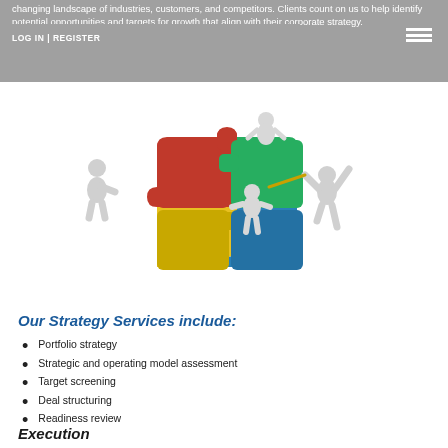changing landscape of industries, customers, and competitors. Clients count on us to help identify potential opportunities and targets for growth that align with their corporate strategy.
LOG IN | REGISTER
[Figure (illustration): 3D illustration of four white figurines assembling a four-piece puzzle (red, yellow, green, blue quadrants) on a white background.]
Our Strategy Services include:
Portfolio strategy
Strategic and operating model assessment
Target screening
Deal structuring
Readiness review
Execution